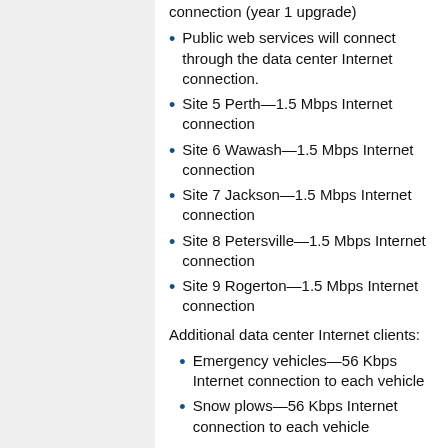connection (year 1 upgrade)
Public web services will connect through the data center Internet connection.
Site 5 Perth—1.5 Mbps Internet connection
Site 6 Wawash—1.5 Mbps Internet connection
Site 7 Jackson—1.5 Mbps Internet connection
Site 8 Petersville—1.5 Mbps Internet connection
Site 9 Rogerton—1.5 Mbps Internet connection
Additional data center Internet clients:
Emergency vehicles—56 Kbps Internet connection to each vehicle
Snow plows—56 Kbps Internet connection to each vehicle